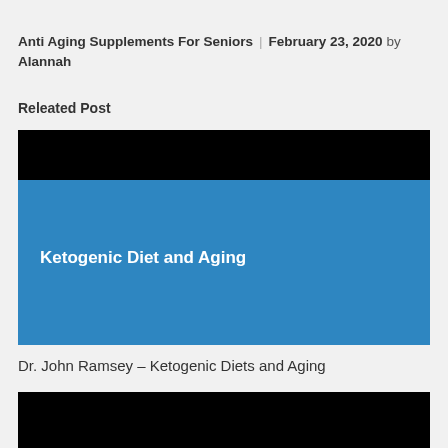Anti Aging Supplements For Seniors | February 23, 2020 by Alannah
Releated Post
[Figure (screenshot): Video thumbnail with black top bar and blue background showing text 'Ketogenic Diet and Aging']
Dr. John Ramsey – Ketogenic Diets and Aging
[Figure (screenshot): Second video thumbnail with black background, partially visible at bottom of page]